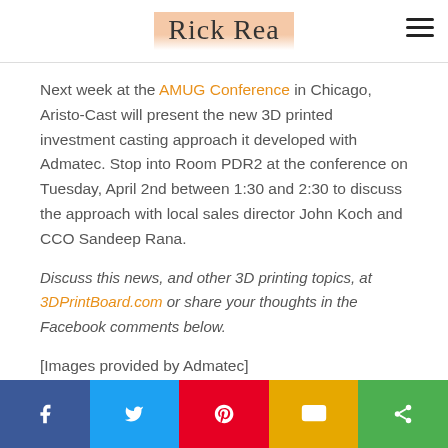Rick Rea
Next week at the AMUG Conference in Chicago, Aristo-Cast will present the new 3D printed investment casting approach it developed with Admatec. Stop into Room PDR2 at the conference on Tuesday, April 2nd between 1:30 and 2:30 to discuss the approach with local sales director John Koch and CCO Sandeep Rana.
Discuss this news, and other 3D printing topics, at 3DPrintBoard.com or share your thoughts in the Facebook comments below.
[Images provided by Admatec]
[Figure (infographic): Social sharing bar with Facebook, Twitter, Pinterest, SMS, and share buttons]